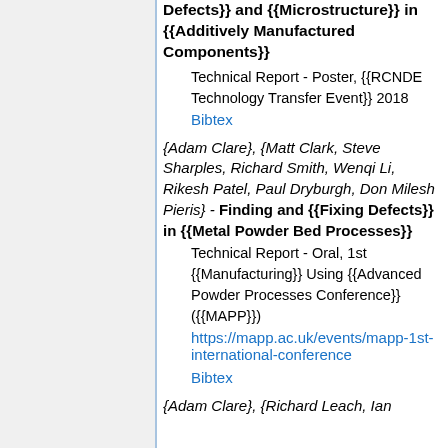Defects}} and {{Microstructure}} in {{Additively Manufactured Components}}
Technical Report - Poster, {{RCNDE Technology Transfer Event}} 2018
Bibtex
{Adam Clare}, {Matt Clark, Steve Sharples, Richard Smith, Wenqi Li, Rikesh Patel, Paul Dryburgh, Don Milesh Pieris} - Finding and {{Fixing Defects}} in {{Metal Powder Bed Processes}}
Technical Report - Oral, 1st {{Manufacturing}} Using {{Advanced Powder Processes Conference}} ({{MAPP}})
https://mapp.ac.uk/events/mapp-1st-international-conference
Bibtex
{Adam Clare}, {Richard Leach, Ian ...